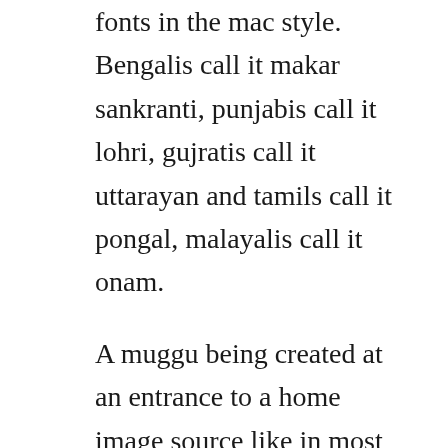fonts in the mac style. Bengalis call it makar sankranti, punjabis call it lohri, gujratis call it uttarayan and tamils call it pongal, malayalis call it onam.
A muggu being created at an entrance to a home image source like in most parts of the country, every morning before sunrise, the women folk clean the entrance to a home andor the courtyard with water, considered the universal purifier, and the muddy floor is swept well to prepare an even surface. On every new years eve, women from two states of india that ...